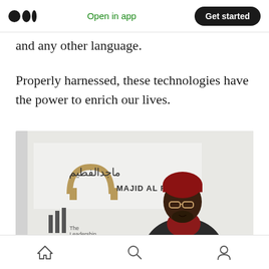Medium app header — Open in app | Get started
and any other language.
Properly harnessed, these technologies have the power to enrich our lives.
[Figure (photo): A man wearing a red beanie hat and glasses, speaking at an event in front of a Majid Al Futtaim branded backdrop with Arabic text and the company logo.]
Bottom navigation bar with home, search, and profile icons